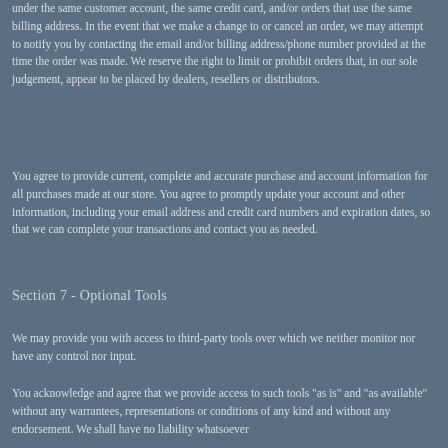under the same customer account, the same credit card, and/or orders that use the same billing address. In the event that we make a change to or cancel an order, we may attempt to notify you by contacting the email and/or billing address/phone number provided at the time the order was made. We reserve the right to limit or prohibit orders that, in our sole judgement, appear to be placed by dealers, resellers or distributors.
You agree to provide current, complete and accurate purchase and account information for all purchases made at our store. You agree to promptly update your account and other information, including your email address and credit card numbers and expiration dates, so that we can complete your transactions and contact you as needed.
Section 7 - Optional Tools
We may provide you with access to third-party tools over which we neither monitor nor have any control nor input.
You acknowledge and agree that we provide access to such tools "as is" and "as available" without any warrantees, representations or conditions of any kind and without any endorsement. We shall have no liability whatsoever